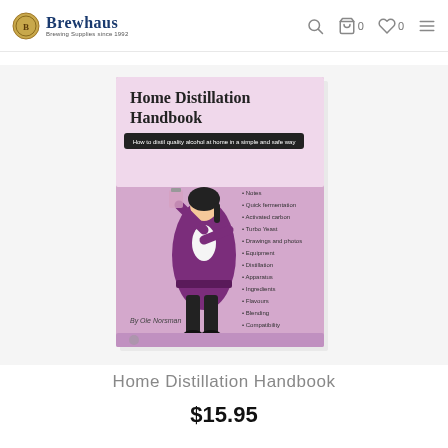Brewhaus — Brewing Supplies since 1992
[Figure (photo): Book cover of 'Home Distillation Handbook' by Ole Norsman. Purple/lavender cover with an illustration of a man in colonial-era purple coat drinking from a glass. Lists topics: Notes, Quick fermentation, Activated carbon, Turbo Yeast, Drawings and photos, Equipment, Distillation, Apparatus, Ingredients, Flavours, Blending, Compatibility.]
Home Distillation Handbook
$15.95